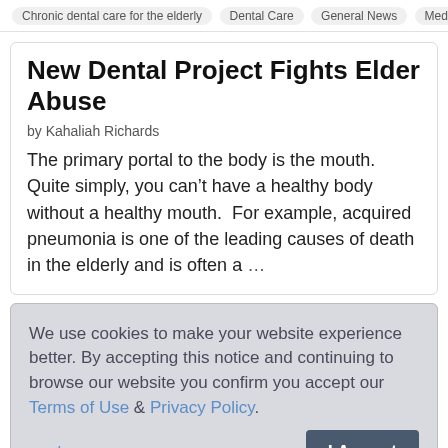Chronic dental care for the elderly   Dental Care   General News   Medical new
New Dental Project Fights Elder Abuse
by Kahaliah Richards
The primary portal to the body is the mouth.  Quite simply, you can't have a healthy body without a healthy mouth.  For example, acquired pneumonia is one of the leading causes of death in the elderly and is often a …
We use cookies to make your website experience better. By accepting this notice and continuing to browse our website you confirm you accept our Terms of Use & Privacy Policy.
read more >>
is on older women (over age 40) who live in the